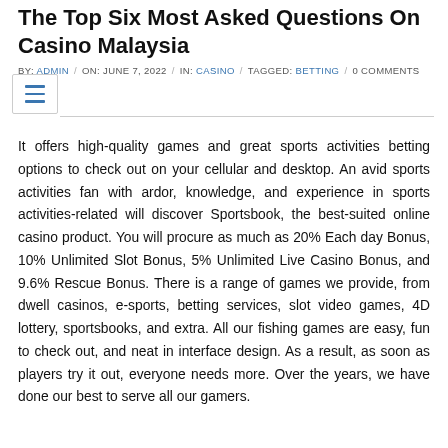The Top Six Most Asked Questions On Casino Malaysia
BY: ADMIN / ON: JUNE 7, 2022 / IN: CASINO / TAGGED: BETTING / 0 COMMENTS
It offers high-quality games and great sports activities betting options to check out on your cellular and desktop. An avid sports activities fan with ardor, knowledge, and experience in sports activities-related will discover Sportsbook, the best-suited online casino product. You will procure as much as 20% Each day Bonus, 10% Unlimited Slot Bonus, 5% Unlimited Live Casino Bonus, and 9.6% Rescue Bonus. There is a range of games we provide, from dwell casinos, e-sports, betting services, slot video games, 4D lottery, sportsbooks, and extra. All our fishing games are easy, fun to check out, and neat in interface design. As a result, as soon as players try it out, everyone needs more. Over the years, we have done our best to serve all our gamers.